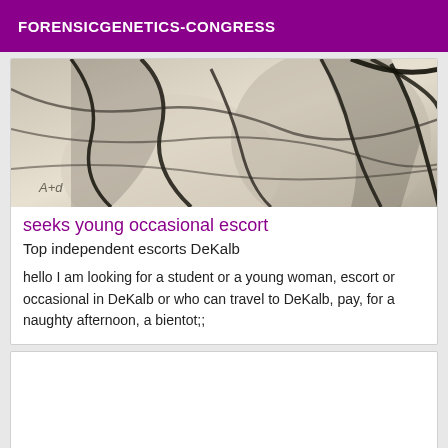FORENSICGENETICS-CONGRESS
[Figure (illustration): A charcoal or pencil sketch illustration showing abstract human figure forms in black and white/beige tones, with an artist signature 'A+d' in the lower left.]
seeks young occasional escort
Top independent escorts DeKalb
hello I am looking for a student or a young woman, escort or occasional in DeKalb or who can travel to DeKalb, pay, for a naughty afternoon, a bientot;;